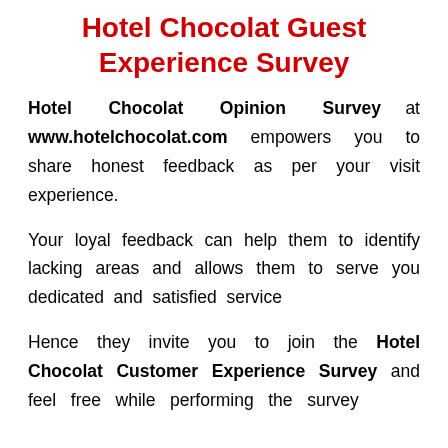Hotel Chocolat Guest Experience Survey
Hotel Chocolat Opinion Survey at www.hotelchocolat.com empowers you to share honest feedback as per your visit experience.
Your loyal feedback can help them to identify lacking areas and allows them to serve you dedicated and satisfied service
Hence they invite you to join the Hotel Chocolat Customer Experience Survey and feel free while performing the survey.